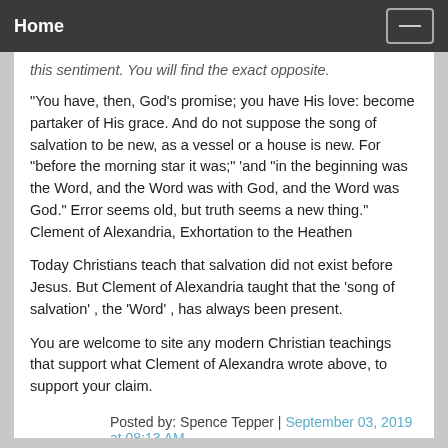Home
this sentiment. You will find the exact opposite.
"You have, then, God's promise; you have His love: become partaker of His grace. And do not suppose the song of salvation to be new, as a vessel or a house is new. For "before the morning star it was;" 'and "in the beginning was the Word, and the Word was with God, and the Word was God." Error seems old, but truth seems a new thing."
Clement of Alexandria, Exhortation to the Heathen
Today Christians teach that salvation did not exist before Jesus. But Clement of Alexandria taught that the 'song of salvation' , the 'Word' , has always been present.
You are welcome to site any modern Christian teachings that support what Clement of Alexandra wrote above, to support your claim.
Posted by: Spence Tepper | September 03, 2019 at 08:13 AM